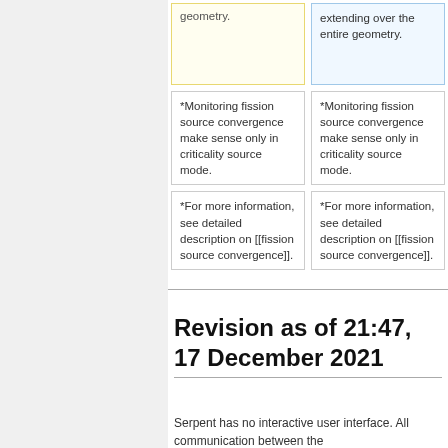| geometry. | extending over the entire geometry. |
| *Monitoring fission source convergence make sense only in criticality source mode. | *Monitoring fission source convergence make sense only in criticality source mode. |
| *For more information, see detailed description on [[fission source convergence]]. | *For more information, see detailed description on [[fission source convergence]]. |
Revision as of 21:47, 17 December 2021
Serpent has no interactive user interface. All communication between the